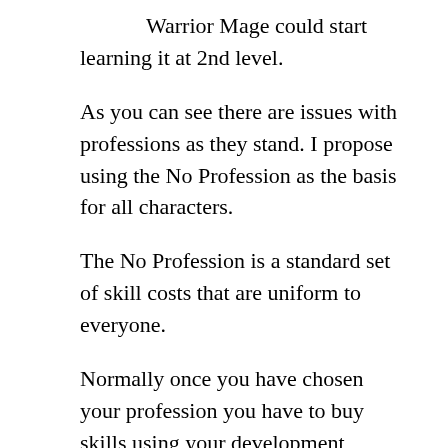Warrior Mage could start learning it at 2nd level.
As you can see there are issues with professions as they stand. I propose using the No Profession as the basis for all characters.
The No Profession is a standard set of skill costs that are uniform to everyone.
Normally once you have chosen your profession you have to buy skills using your development points at least twice. The first time is your ‘apprenticeship’ level, essentially 0th level. The second time is your 1st level skills and then a third time to show what you are